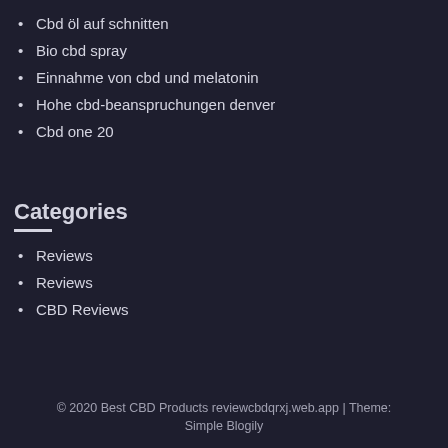Cbd öl auf schnitten
Bio cbd spray
Einnahme von cbd und melatonin
Hohe cbd-beanspruchungen denver
Cbd one 20
Categories
Reviews
Reviews
CBD Reviews
© 2020 Best CBD Products reviewcbdqrxj.web.app | Theme: Simple Blogily